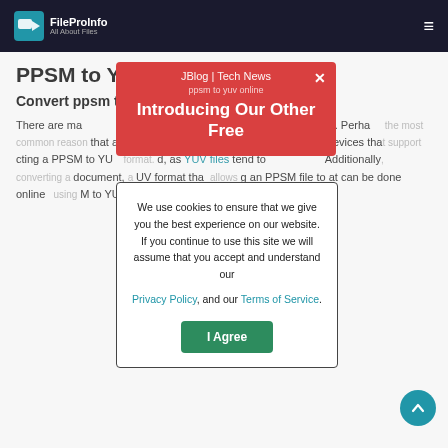FileProInfo – All About Files (navigation bar with hamburger menu)
PPSM to YUV Converter
Convert ppsm to yuv online & free
There are many tools that can help you convert a PPSM file to YUV. Perhaps the most common reason that a YUV can be read on limited to devices that are not converting a PPSM to YUV format, and, as YUV files tend to Additionally, document, UV format that an PPSM file to at can be done online M to YUV converter.
[Figure (screenshot): Red popup banner: JBlog | Tech News header, text 'ppsm to yuv online', 'Introducing Our Other Free', close X button]
[Figure (screenshot): Cookie consent modal: 'We use cookies to ensure that we give you the best experience on our website. If you continue to use this site we will assume that you accept and understand our Privacy Policy, and our Terms of Service.' with I Agree button]
[Figure (other): Scroll-to-top circular teal button with upward arrow]